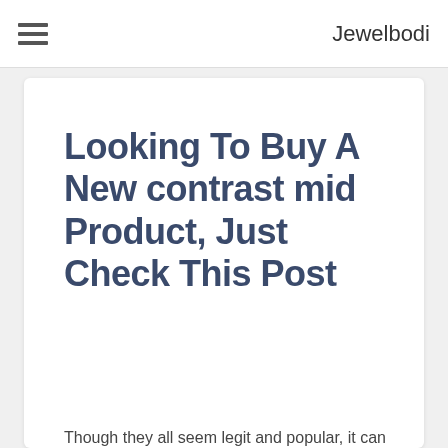Jewelbodi
Looking To Buy A New contrast mid Product, Just Check This Post
Though they all seem legit and popular, it can be complicated to